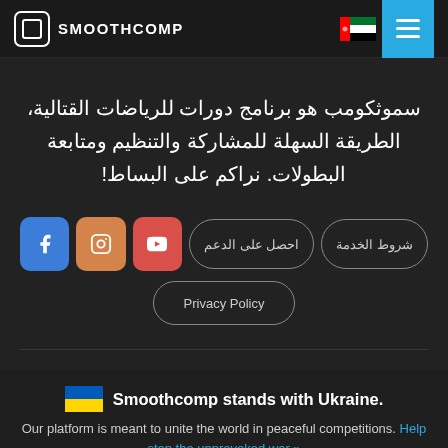SMOOTHCOMP
سموثكومب هو برنامج دورات للرياضات القتالية، الطريقة السهلة للمشاركة والتنظيم ومتابعة البطولات. نراكم على البساط!
احصل على الدعم | شروط الخدمة | Privacy Policy
Smoothcomp stands with Ukraine. Our platform is meant to unite the world in peaceful competitions. Help stop the unprovoked war »